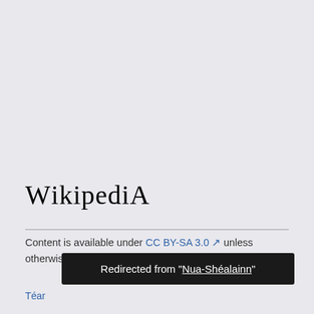Wikipedia
Content is available under CC BY-SA 3.0 unless otherwise noted.
Téar…
Redirected from "Nua-Shéalainn"